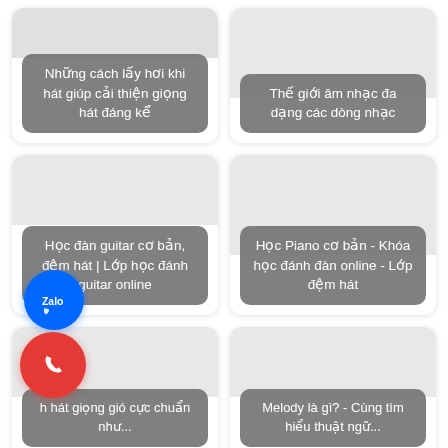[Figure (screenshot): Card: Những cách lấy hơi khi hát giúp cải thiện giọng hát đáng kể]
[Figure (screenshot): Card: Thế giới âm nhạc đa dạng các dòng nhạc]
[Figure (screenshot): Card: Học đàn guitar cơ bản, đệm hát | Lớp học đánh guitar online]
[Figure (screenshot): Card: Học Piano cơ bản - Khóa học đánh đàn online - Lớp đệm hát]
[Figure (screenshot): Card: [h] hát giọng gió [c]ực chuẩn như...]
[Figure (screenshot): Card: Melody là gì? - Cùng tìm hiểu thuật ngữ...]